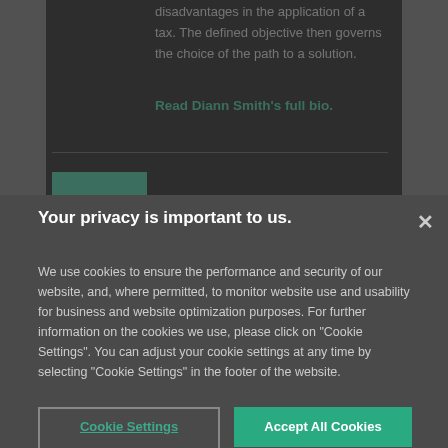disadvantages in the application of a tax. The defined objective then governs the choice of the path to a solution.
Read Diann Smith's full bio.
Your privacy is important to us.
We use cookies to ensure the performance and security of our website, and, where permitted, to monitor website use and usability for business and website optimization purposes. For further information on the cookies we use, please click on "Cookie Settings". You can adjust your cookie settings at any time by selecting "Cookie Settings" in the footer of the website.
Cookie Settings
Accept All Cookies